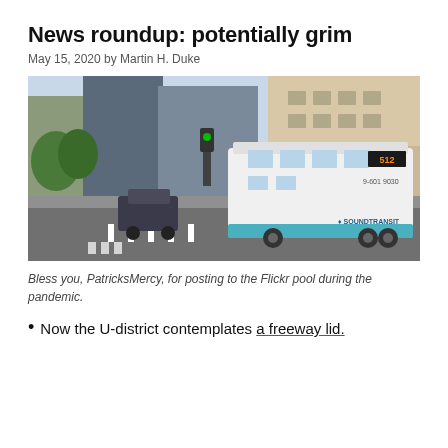News roundup: potentially grim
May 15, 2020 by Martin H. Duke
[Figure (photo): A Sound Transit double-decker bus (route 512) on an urban street in Seattle, with city buildings and green traffic lights visible. The street is largely empty.]
Bless you, PatricksMercy, for posting to the Flickr pool during the pandemic.
Now the U-district contemplates a freeway lid.